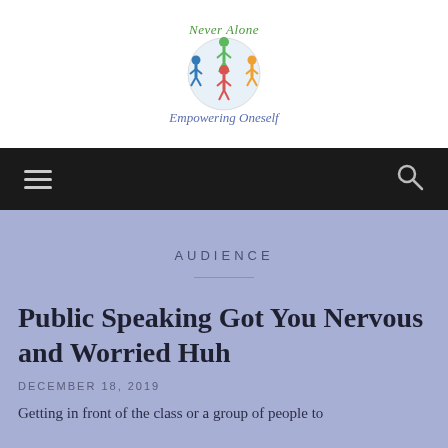[Figure (logo): Never Alone logo with colorful figures forming a globe and 'Never Alone' text in green cursive above, 'Empowering Oneself' in blue italic script below]
[Figure (other): Black navigation bar with hamburger menu icon on left and search icon on right]
AUDIENCE
Public Speaking Got You Nervous and Worried Huh
DECEMBER 18, 2019
Getting in front of the class or a group of people to